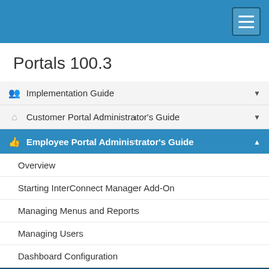Navigation menu header bar
Portals 100.3
Implementation Guide
Customer Portal Administrator's Guide
Employee Portal Administrator's Guide
Overview
Starting InterConnect Manager Add-On
Managing Menus and Reports
Managing Users
Dashboard Configuration
Localizing Employee Portal
User-Intiated Emails
Sales User
Expense User Configuration